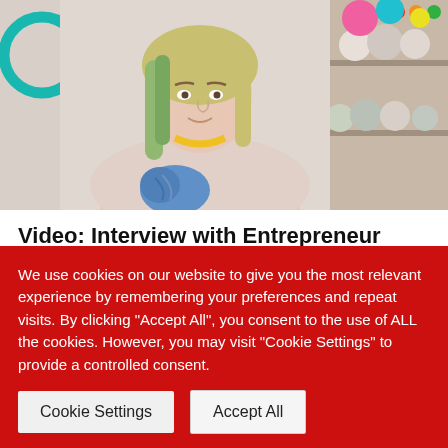[Figure (photo): A woman with green-tinted hair and a yellow necklace holding blue yarn/knitting, surrounded by colorful yarn and crafts in the background. Teal circle decoration on left side.]
Video: Interview with Entrepreneur Kasia from beorKNOTtobe
Fashion is a statement. Kasia`s products are a
We use cookies on our website to give you the most relevant experience by remembering your preferences and repeat visits. By clicking "Accept All", you consent to the use of ALL the cookies. However, you may visit "Cookie Settings" to provide a controlled consent.